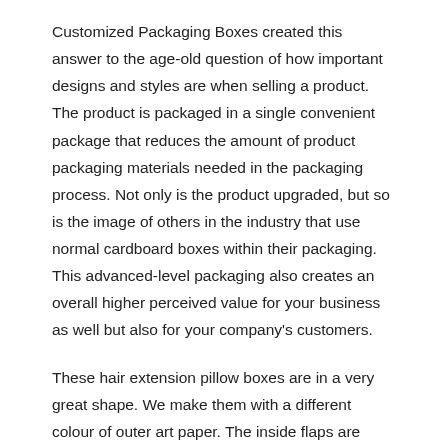Customized Packaging Boxes created this answer to the age-old question of how important designs and styles are when selling a product. The product is packaged in a single convenient package that reduces the amount of product packaging materials needed in the packaging process. Not only is the product upgraded, but so is the image of others in the industry that use normal cardboard boxes within their packaging. This advanced-level packaging also creates an overall higher perceived value for your business as well but also for your company's customers.
These hair extension pillow boxes are in a very great shape. We make them with a different colour of outer art paper. The inside flaps are added to maintain the product quality. All our pillow boxes are 100% recyclable and eco-friendly besides the fact that we provide artwork on the customer's own logo, images or any pictures which are uploaded by the customer in their shopping cart or custom quote form or emailed to us. We produce every print as per individual and company needs.